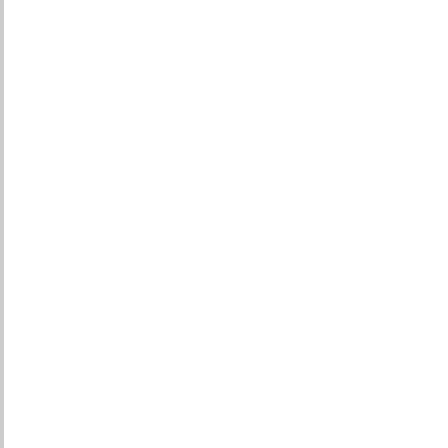In our last call we mentioned an activity started by the Content working group that was discussed at the March 29-30 NDSA planning meeting. It's an effort to define 3 progressive levels of digital preservation (level 1 - silver, level 2 - gold, and level 3 - platinum), by their intent, characteristics and supported activities. These levels can be used in various ways including providing a way to prioritize limited resources or meeting particular requirements. Now that the content working group has started this effort, a cross working group team is forming to further develop and review these levels. So far there are a few people from the Infrastructure working group (including me) and I believe some people from the Content working group who started this project involved. This sound very 'standards & practices' related to me so please send me an email if you would like to participate in this effort. For background reading check the documents on the Content working group's part of the wiki at:
http://www.loc.gov/extranet/wiki/osi/ndiip/ndsa/images/b/b8/Outline_for_levels_draft_oct5.doc and http://www.loc.gov/extranet/wiki/osi/ndiip/ndsa/images/1/17/Digitization_c
thanks,
Andrea
Andrea Goethals
Digital Preservation and Repository Services Manager
Harvard Library
[log in to unmask]
(617) 495-3724
##############################
To unsubscribe from the NDSA-STANDARDS list:
write to: mailto:[log in to unmask]
or click the following link: